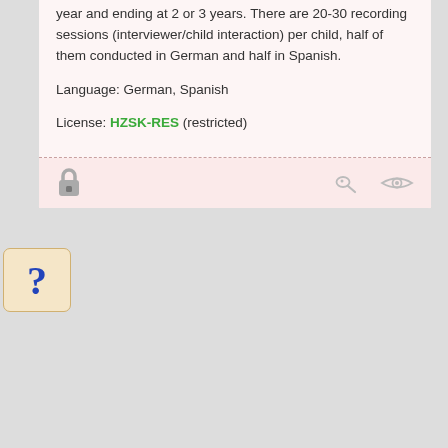year and ending at 2 or 3 years. There are 20-30 recording sessions (interviewer/child interaction) per child, half of them conducted in German and half in Spanish.
Language: German, Spanish
License: HZSK-RES (restricted)
[Figure (illustration): Question mark badge icon (blue ? on tan background)]
[Figure (illustration): Lock icon (closed padlock) and two eye/search icons in footer of restricted corpus card]
Hamburg Corpus of Polish in Germany (HamCoPoliG)
general corpus / spoken / discourse
Audio recordings of German/Polish bilingual and Polish monolingual adults (16-46 years). Recordings of semi-spontaneous data (3 topics) and renarration of a picture story.
Language: Polish
License: HZSK-RES (restricted)
[Figure (illustration): Unlocked padlock icon in footer of open corpus card]